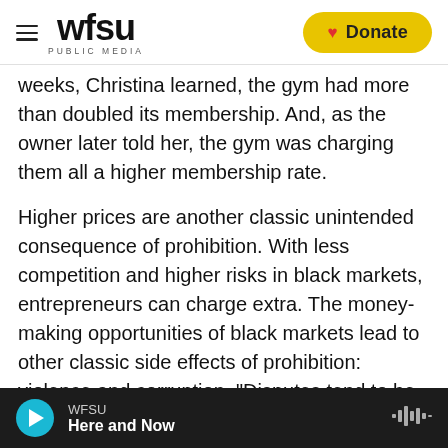WFSU PUBLIC MEDIA | Donate
weeks, Christina learned, the gym had more than doubled its membership. And, as the owner later told her, the gym was charging them all a higher membership rate.
Higher prices are another classic unintended consequence of prohibition. With less competition and higher risks in black markets, entrepreneurs can charge extra. The money-making opportunities of black markets lead to other classic side effects of prohibition: violence and corruption. "Disputes tend to be resolved violently because the participants in an underground market can't sue
WFSU | Here and Now